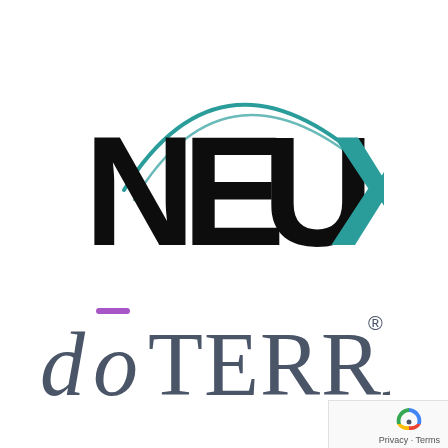[Figure (logo): NEUX logo — large bold black letters N, E, U with teal arc swoosh above, and teal X letter at right]
[Figure (logo): doTERRA logo — slate-colored lowercase letters with a purple macron over the o, uppercase TERRA, and registered trademark symbol]
Privacy · Terms